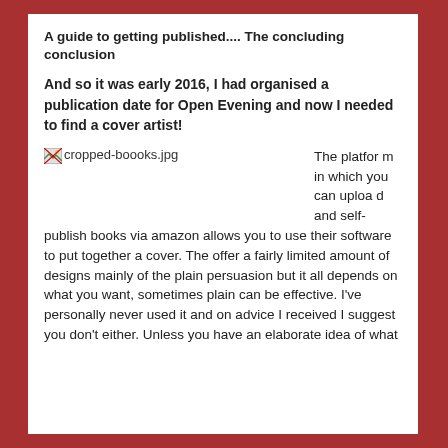A guide to getting published.... The concluding conclusion
And so it was early 2016, I had organised a publication date for Open Evening and now I needed to find a cover artist!
[Figure (photo): Broken image placeholder labeled cropped-boooks.jpg]
The platform in which you can upload and self-publish books via amazon allows you to use their software to put together a cover. The offer a fairly limited amount of designs mainly of the plain persuasion but it all depends on what you want, sometimes plain can be effective. I've personally never used it and on advice I received I suggest you don't either. Unless you have an elaborate idea of what